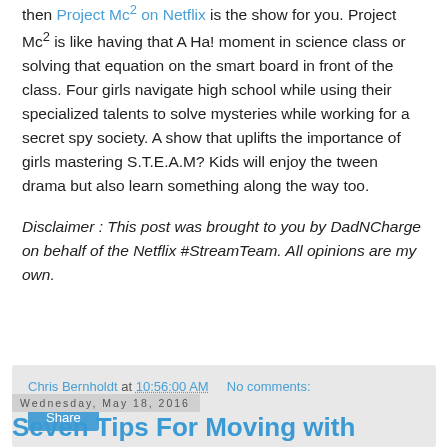then Project Mc² on Netflix is the show for you. Project Mc² is like having that A Ha! moment in science class or solving that equation on the smart board in front of the class. Four girls navigate high school while using their specialized talents to solve mysteries while working for a secret spy society. A show that uplifts the importance of girls mastering S.T.E.A.M? Kids will enjoy the tween drama but also learn something along the way too.
Disclaimer : This post was brought to you by DadNCharge on behalf of the Netflix #StreamTeam. All opinions are my own.
Chris Bernholdt at 10:56:00 AM   No comments:
Share
Wednesday, May 18, 2016
Seven Tips For Moving with Children